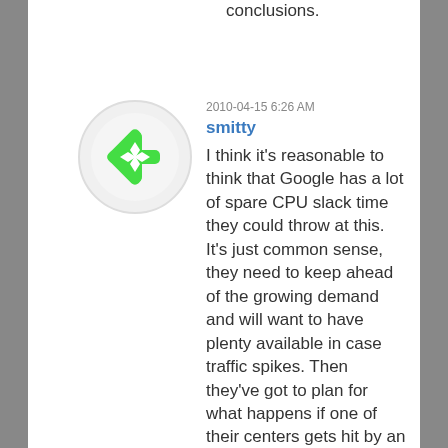conclusions.
[Figure (illustration): Green snowflake-like avatar icon inside a light circle]
2010-04-15 6:26 AM
smitty
I think it's reasonable to think that Google has a lot of spare CPU slack time they could throw at this. It's just common sense, they need to keep ahead of the growing demand and will want to have plenty available in case traffic spikes. Then they've got to plan for what happens if one of their centers gets hit by an earthquake and goes offline, the others need to be able to pick